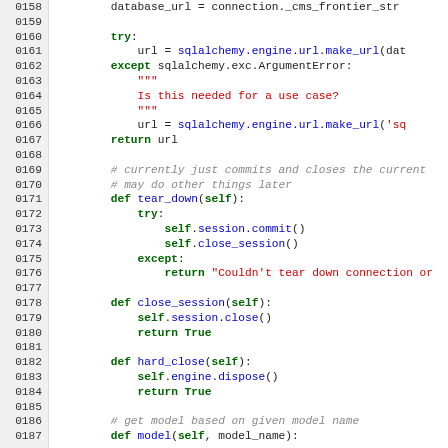[Figure (screenshot): Python source code listing, lines 0158–0187, showing database connection methods including try/except blocks, tear_down, close_session, hard_close, and the beginning of a model method.]